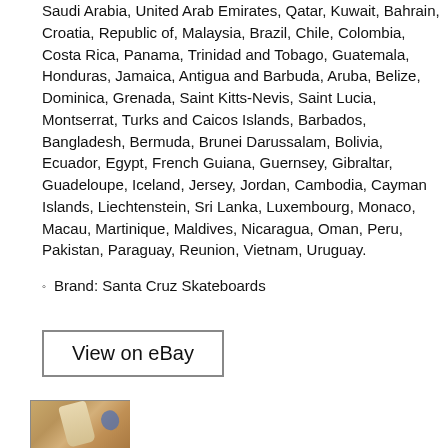Saudi Arabia, United Arab Emirates, Qatar, Kuwait, Bahrain, Croatia, Republic of, Malaysia, Brazil, Chile, Colombia, Costa Rica, Panama, Trinidad and Tobago, Guatemala, Honduras, Jamaica, Antigua and Barbuda, Aruba, Belize, Dominica, Grenada, Saint Kitts-Nevis, Saint Lucia, Montserrat, Turks and Caicos Islands, Barbados, Bangladesh, Bermuda, Brunei Darussalam, Bolivia, Ecuador, Egypt, French Guiana, Guernsey, Gibraltar, Guadeloupe, Iceland, Jersey, Jordan, Cambodia, Cayman Islands, Liechtenstein, Sri Lanka, Luxembourg, Monaco, Macau, Martinique, Maldives, Nicaragua, Oman, Peru, Pakistan, Paraguay, Reunion, Vietnam, Uruguay.
Brand: Santa Cruz Skateboards
[Figure (other): View on eBay button link]
[Figure (photo): Photo of a Santa Cruz skateboard deck with graphic]